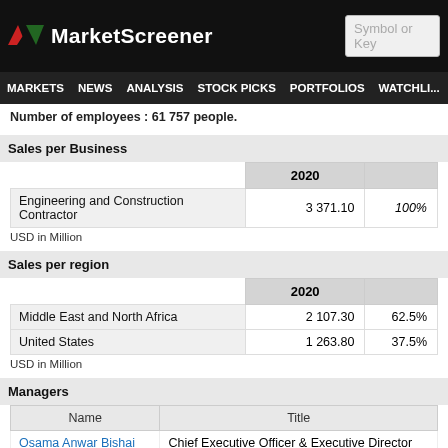MarketScreener
MARKETS NEWS ANALYSIS STOCK PICKS PORTFOLIOS WATCHLI...
Number of employees : 61 757 people.
Sales per Business
|  | 2020 |  |
| --- | --- | --- |
| Engineering and Construction Contractor | 3 371.10 | 100% |
USD in Million
Sales per region
|  | 2020 |  |
| --- | --- | --- |
| Middle East and North Africa | 2 107.30 | 62.5% |
| United States | 1 263.80 | 37.5% |
USD in Million
Managers
| Name | Title |
| --- | --- |
| Osama Anwar Bishai | Chief Executive Officer & Executive Director |